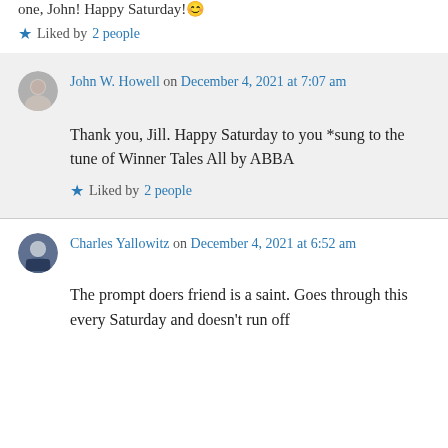one, John! Happy Saturday!😊
★ Liked by 2 people
John W. Howell on December 4, 2021 at 7:07 am
Thank you, Jill. Happy Saturday to you *sung to the tune of Winner Tales All by ABBA
★ Liked by 2 people
Charles Yallowitz on December 4, 2021 at 6:52 am
The prompt doers friend is a saint. Goes through this every Saturday and doesn't run off screaming into the wild...🙂